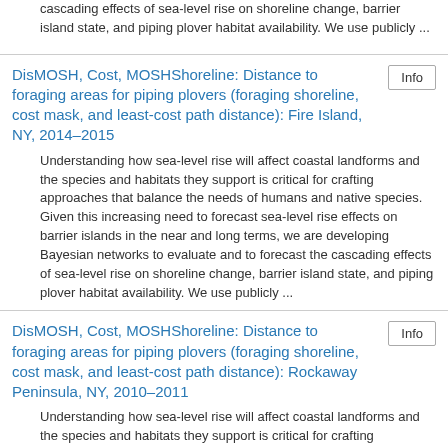cascading effects of sea-level rise on shoreline change, barrier island state, and piping plover habitat availability. We use publicly ...
DisMOSH, Cost, MOSHShoreline: Distance to foraging areas for piping plovers (foraging shoreline, cost mask, and least-cost path distance): Fire Island, NY, 2014–2015
Understanding how sea-level rise will affect coastal landforms and the species and habitats they support is critical for crafting approaches that balance the needs of humans and native species. Given this increasing need to forecast sea-level rise effects on barrier islands in the near and long terms, we are developing Bayesian networks to evaluate and to forecast the cascading effects of sea-level rise on shoreline change, barrier island state, and piping plover habitat availability. We use publicly ...
DisMOSH, Cost, MOSHShoreline: Distance to foraging areas for piping plovers (foraging shoreline, cost mask, and least-cost path distance): Rockaway Peninsula, NY, 2010–2011
Understanding how sea-level rise will affect coastal landforms and the species and habitats they support is critical for crafting approaches that balance the needs of humans and native species. Given this increasing need to forecast sea-level rise